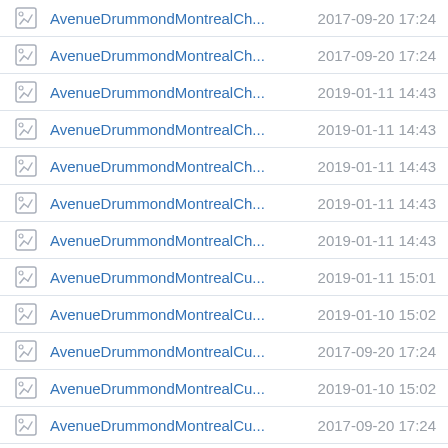AvenueDrummondMontrealCh... 2017-09-20 17:24
AvenueDrummondMontrealCh... 2017-09-20 17:24
AvenueDrummondMontrealCh... 2019-01-11 14:43
AvenueDrummondMontrealCh... 2019-01-11 14:43
AvenueDrummondMontrealCh... 2019-01-11 14:43
AvenueDrummondMontrealCh... 2019-01-11 14:43
AvenueDrummondMontrealCh... 2019-01-11 14:43
AvenueDrummondMontrealCu... 2019-01-11 15:01
AvenueDrummondMontrealCu... 2019-01-10 15:02
AvenueDrummondMontrealCu... 2017-09-20 17:24
AvenueDrummondMontrealCu... 2019-01-10 15:02
AvenueDrummondMontrealCu... 2017-09-20 17:24
AvenueDrummondMontrealCu... 2019-01-10 15:02